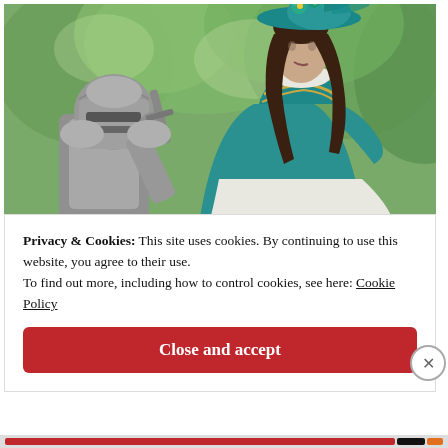[Figure (photo): A woman in a teal/turquoise Renaissance-style dress and matching wide-brim hat decorated with flowers, looking down at a knight in silver armor who is raising a gauntleted hand toward her. Background is green trees/foliage in soft focus.]
Privacy & Cookies: This site uses cookies. By continuing to use this website, you agree to their use.
To find out more, including how to control cookies, see here: Cookie Policy
Close and accept